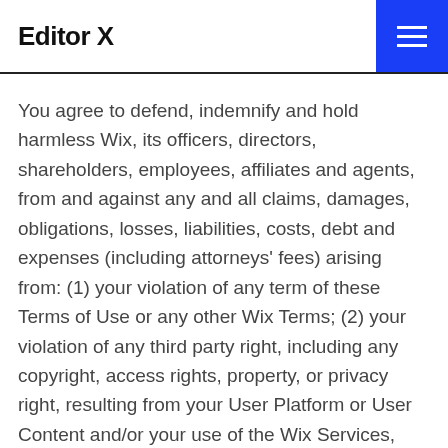Editor X
You agree to defend, indemnify and hold harmless Wix, its officers, directors, shareholders, employees, affiliates and agents, from and against any and all claims, damages, obligations, losses, liabilities, costs, debt and expenses (including attorneys' fees) arising from: (1) your violation of any term of these Terms of Use or any other Wix Terms; (2) your violation of any third party right, including any copyright, access rights, property, or privacy right, resulting from your User Platform or User Content and/or your use of the Wix Services, including, without limitation, Wix Services' actions for your benefit; and/or (3) any other type of claim that your User Platform and/or User Content caused damage to a third party.